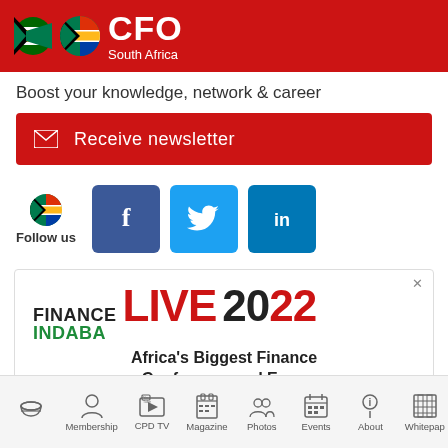[Figure (logo): CFO South Africa logo with South African flag circle on red background header bar]
Boost your knowledge, network & career
Receive newsletter
[Figure (infographic): Follow us section with South African flag icon and social media buttons for Facebook, Twitter, and LinkedIn]
[Figure (screenshot): Finance Indaba LIVE 2022 advertisement banner - Africa's Biggest Finance Conference and Expo]
Membership  CPD TV  Magazine  Photos  Events  About  Whitepap